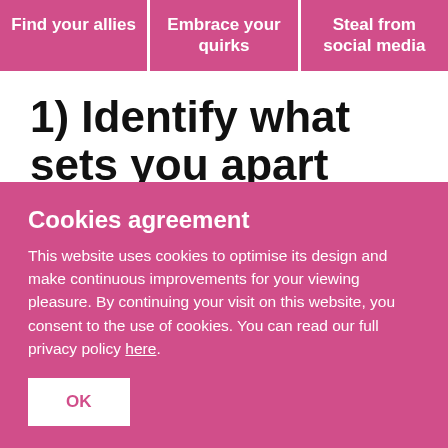Find your allies | Embrace your quirks | Steal from social media
1) Identify what sets you apart
This is about finding your uncontested space. This is something that You Are The Media 2018 speaker, Lunch Club and podcast
Cookies agreement
This website uses cookies to optimise its design and make continuous improvements for your viewing pleasure. By continuing your visit on this website, you consent to the use of cookies. You can read our full privacy policy here.
OK